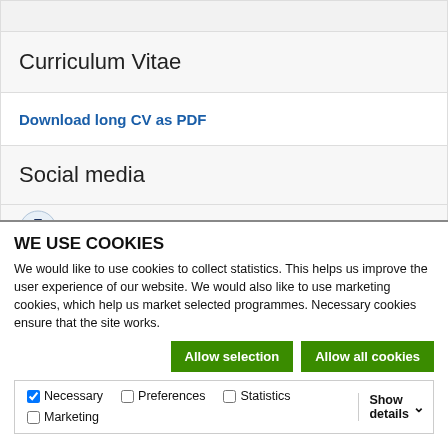Curriculum Vitae
Download long CV as PDF
Social media
[Figure (logo): Google Scholar icon - circular logo with graduation cap]
WE USE COOKIES
We would like to use cookies to collect statistics. This helps us improve the user experience of our website. We would also like to use marketing cookies, which help us market selected programmes. Necessary cookies ensure that the site works.
Allow selection
Allow all cookies
Necessary  Preferences  Statistics  Marketing  Show details